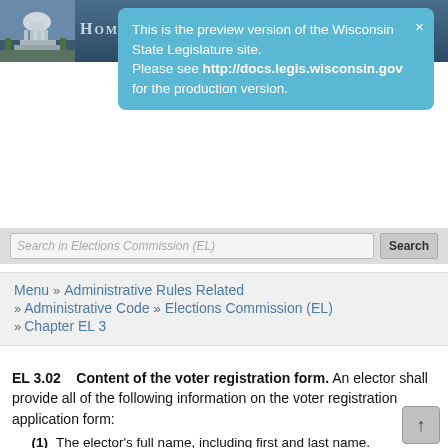HOME
This is the preview version of the Wisconsin State Legislature site. Please see http://docs.legis.wisconsin.gov for the production version.
Search in Elections Commission (EL)  Search
Menu » Administrative Rules Related » Administrative Code » Elections Commission (EL) » Chapter EL 3
EL 3.02   Content of the voter registration form.
An elector shall provide all of the following information on the voter registration application form:
(1)  The elector's full name, including first and last name.
(2)  The elector's complete address, including street, number and municipality.
(3)  The elector's date of birth.
(4)  The elector's driver's license number or, if the elector has not been issued a valid and current driver's license but has a